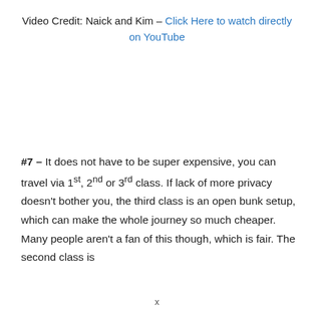Video Credit: Naick and Kim – Click Here to watch directly on YouTube
#7 – It does not have to be super expensive, you can travel via 1st, 2nd or 3rd class. If lack of more privacy doesn't bother you, the third class is an open bunk setup, which can make the whole journey so much cheaper. Many people aren't a fan of this though, which is fair. The second class is
x